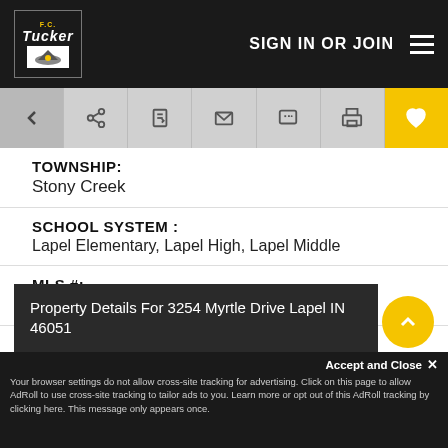SIGN IN OR JOIN
TOWNSHIP:
Stony Creek
SCHOOL SYSTEM :
Lapel Elementary, Lapel High, Lapel Middle
MLS #:
21841243
PROPERTY TYPE:
Single Family Residence
Property Details For 3254 Myrtle Drive Lapel IN 46051
Accept and Close ✕
Your browser settings do not allow cross-site tracking for advertising. Click on this page to allow AdRoll to use cross-site tracking to tailor ads to you. Learn more or opt out of this AdRoll tracking by clicking here. This message only appears once.